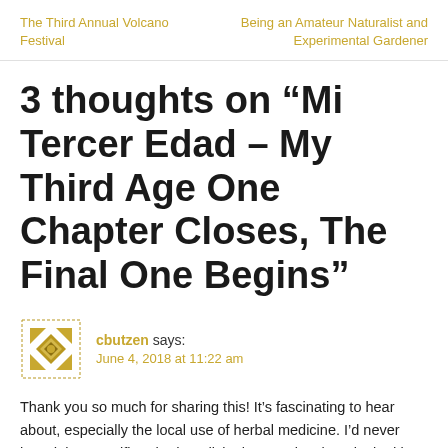The Third Annual Volcano Festival | Being an Amateur Naturalist and Experimental Gardener
3 thoughts on “Mi Tercer Edad – My Third Age One Chapter Closes, The Final One Begins”
[Figure (illustration): Geometric/decorative avatar icon in gold/brown tones for user cbutzen]
cbutzen says:
June 4, 2018 at 11:22 am
Thank you so much for sharing this! It’s fascinating to hear about, especially the local use of herbal medicine. I’d never heard that passiflora had medicinal properties, but I looked it up, and apparently the FDA has actually done